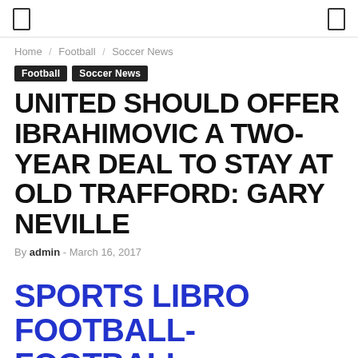[ ]  [ ]
Home / Football / Soccer News
Football  Soccer News
UNITED SHOULD OFFER IBRAHIMOVIC A TWO-YEAR DEAL TO STAY AT OLD TRAFFORD: GARY NEVILLE
By admin - March 16, 2017
SPORTS LIBRO FOOTBALL- FOOTBALL